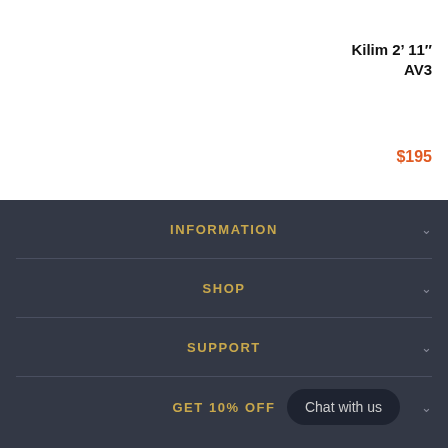Kilim 2’ 11″ AV3
$195
INFORMATION
SHOP
SUPPORT
GET 10% OFF
Chat with us